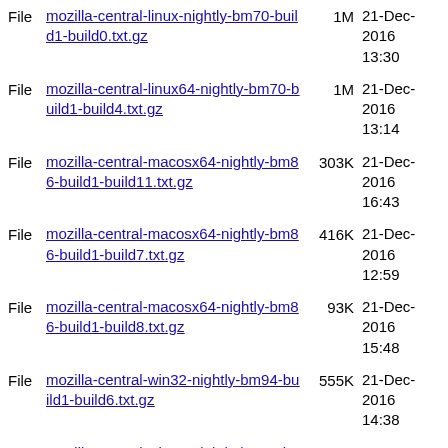File  mozilla-central-linux-nightly-bm70-build1-build0.txt.gz  1M  21-Dec-2016 13:30
File  mozilla-central-linux64-nightly-bm70-build1-build4.txt.gz  1M  21-Dec-2016 13:14
File  mozilla-central-macosx64-nightly-bm86-build1-build11.txt.gz  303K  21-Dec-2016 16:43
File  mozilla-central-macosx64-nightly-bm86-build1-build7.txt.gz  416K  21-Dec-2016 12:59
File  mozilla-central-macosx64-nightly-bm86-build1-build8.txt.gz  93K  21-Dec-2016 15:48
File  mozilla-central-win32-nightly-bm94-build1-build6.txt.gz  555K  21-Dec-2016 14:38
File  mozilla-central-win64-nightly-bm94-build1-build3.txt.gz  550K  21-Dec-2016 14:45
File  mozilla-central_ubuntu32_vm_test_pgo-cppunit-bm07-tests1-linux32-build1.txt.gz  23K  21-Dec-2016 13:14